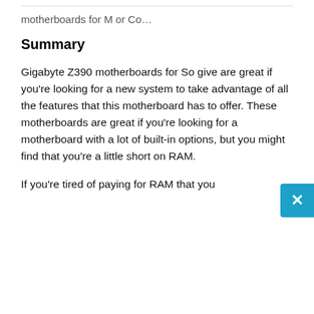motherboards for M or Co…
Summary
Gigabyte Z390 motherboards for So give are great if you're looking for a new system to take advantage of all the features that this motherboard has to offer. These motherboards are great if you're looking for a motherboard with a lot of built-in options, but you might find that you're a little short on RAM.
If you're tired of paying for RAM that you